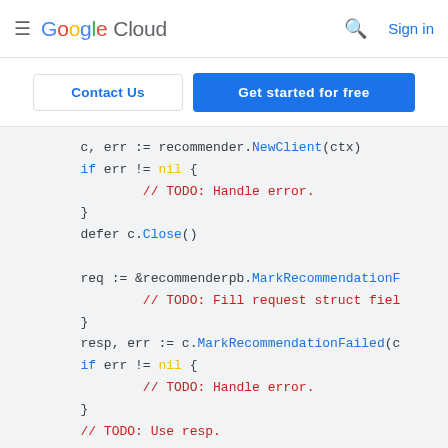Google Cloud  Sign in
Contact Us  Get started for free
[Figure (screenshot): Google Cloud documentation page showing Go code snippet with recommender client usage including NewClient, Close, MarkRecommendationFailed calls with TODO comments]